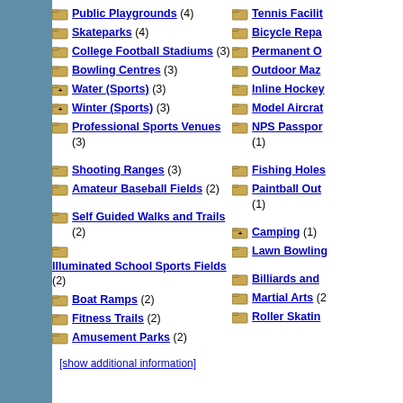Public Playgrounds (4)
Tennis Facilit... (partially visible)
Skateparks (4)
Bicycle Repa... (partially visible)
College Football Stadiums (3)
Permanent O... (partially visible)
Bowling Centres (3)
Outdoor Maz... (partially visible)
Water (Sports) (3)
Inline Hockey... (partially visible)
Winter (Sports) (3)
Model Aircrat... (partially visible)
Professional Sports Venues (3)
NPS Passpor... (1)
Shooting Ranges (3)
Fishing Holes... (partially visible)
Amateur Baseball Fields (2)
Paintball Out... (1)
Self Guided Walks and Trails (2)
Camping (1)
Illuminated School Sports Fields (2)
Lawn Bowling... (partially visible)
Boat Ramps (2)
Billiards and ... (partially visible)
Fitness Trails (2)
Martial Arts (... partially visible)
Amusement Parks (2)
Roller Skatin... (partially visible)
[show additional information]